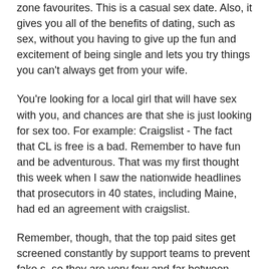zone favourites. This is a casual sex date. Also, it gives you all of the benefits of dating, such as sex, without you having to give up the fun and excitement of being single and lets you try things you can't always get from your wife.
You're looking for a local girl that will have sex with you, and chances are that she is just looking for sex too. For example: Craigslist - The fact that CL is free is a bad. Remember to have fun and be adventurous. That was my first thought this week when I saw the nationwide headlines that prosecutors in 40 states, including Maine, had ed an agreement with craigslist.
Remember, though, that the top paid sites get screened constantly by support teams to prevent fake s, so they are very few and far between again. This will keep your levels on confidence high, and will make it easier for you to remain discrete and avoid attachment. Gillian anderson young naked. Hihhihi not compulsory Send me a message". Are